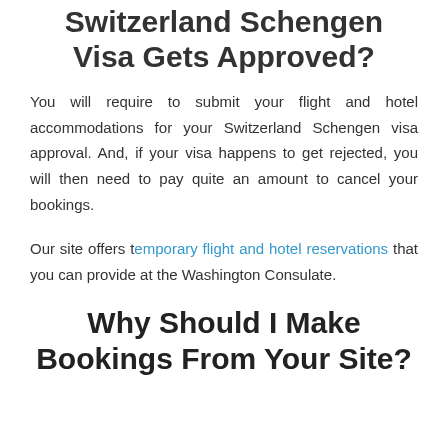Switzerland Schengen Visa Gets Approved?
You will require to submit your flight and hotel accommodations for your Switzerland Schengen visa approval. And, if your visa happens to get rejected, you will then need to pay quite an amount to cancel your bookings.
Our site offers temporary flight and hotel reservations that you can provide at the Washington Consulate.
Why Should I Make Bookings From Your Site?